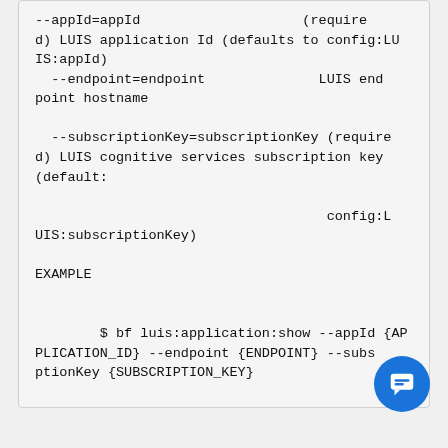--appId=appId                    (required) LUIS application Id (defaults to config:LUIS:appId)
  --endpoint=endpoint              LUIS endpoint hostname

  --subscriptionKey=subscriptionKey (required) LUIS cognitive services subscription key (default:

                                    config:LUIS:subscriptionKey)

EXAMPLE


        $ bf luis:application:show --appId {APPLICATION_ID} --endpoint {ENDPOINT} --subscriptionKey {SUBSCRIPTION_KEY}